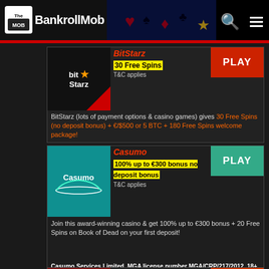The BankrollMob
BitStarz
30 Free Spins
T&C applies
BitStarz (lots of payment options & casino games) gives 30 Free Spins (no deposit bonus) + €/$500 or 5 BTC + 180 Free Spins welcome package!
Casumo
100% up to €300 bonus no deposit bonus
T&C applies
Join this award-winning casino & get 100% up to €300 bonus + 20 Free Spins on Book of Dead on your first deposit!
Casumo Services Limited, MGA license number MGA/CRP/217/2012, 18+, New Customers Only, Gamble Responsibly - www.begambleaware.org, www.gamstop.co.uk , T&Cs apply
CherryCasino
Deposit €20, Spin & Win! no deposit bonus
T&C applies
Kick off your adventure at an award-winning